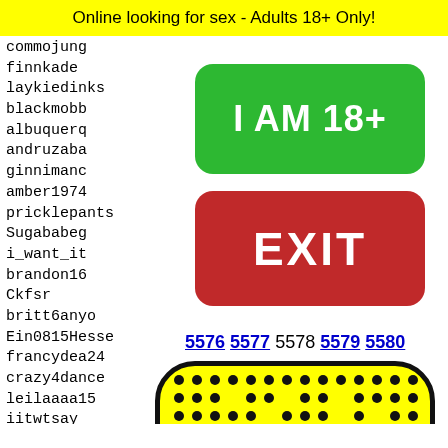Online looking for sex - Adults 18+ Only!
commojung
finnkade
laykiedinks
blackmobb
albuquerq
andruzaba
ginnimanc
amber1974
pricklepants
Sugababeg
i_want_it
brandon16
Ckfsr
britt6anyo
Ein0815Hesse
francydea24
crazy4dance
leilaaaa15
iitwtsay
pandaaa123
pandit
mjltow
matteo
juan10
fzufzh
torado
[Figure (other): Green button with text I AM 18+]
[Figure (other): Red button with text EXIT]
5576 5577 5578 5579 5580
[Figure (other): Yellow emoji face with black dots pattern and bow tie at bottom]